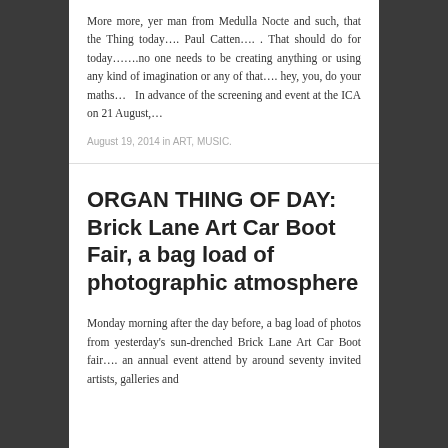More more, yer man from Medulla Nocte and such, that the Thing today…. Paul Catten…. . That should do for today…….no one needs to be creating anything or using any kind of imagination or any of that…. hey, you, do your maths…   In advance of the screening and event at the ICA on 21 August,…
August 19, 2014 in ART, MUSIC.
ORGAN THING OF DAY: Brick Lane Art Car Boot Fair, a bag load of photographic atmosphere
Monday morning after the day before, a bag load of photos from yesterday's sun-drenched Brick Lane Art Car Boot fair…. an annual event attend by around seventy invited artists, galleries and